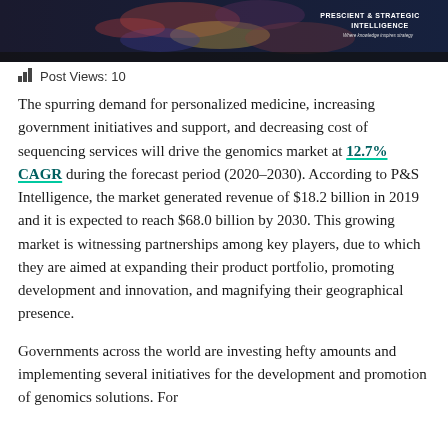PRESCIENT & STRATEGIC INTELLIGENCE — Where knowledge inspires strategy
Post Views: 10
The spurring demand for personalized medicine, increasing government initiatives and support, and decreasing cost of sequencing services will drive the genomics market at 12.7% CAGR during the forecast period (2020–2030). According to P&S Intelligence, the market generated revenue of $18.2 billion in 2019 and it is expected to reach $68.0 billion by 2030. This growing market is witnessing partnerships among key players, due to which they are aimed at expanding their product portfolio, promoting development and innovation, and magnifying their geographical presence.
Governments across the world are investing hefty amounts and implementing several initiatives for the development and promotion of genomics solutions. For